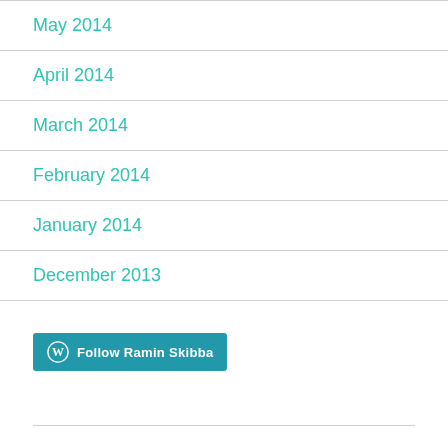May 2014
April 2014
March 2014
February 2014
January 2014
December 2013
[Figure (logo): WordPress Follow button with text 'Follow Ramin Skibba']